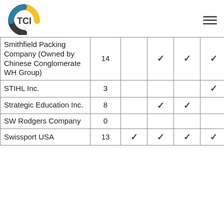TCI logo and hamburger menu
| Company | # |  |  |  |  |  |
| --- | --- | --- | --- | --- | --- | --- |
| Smithfield Packing Company (Owned by Chinese Conglomerate WH Group) | 14 |  | ✓ | ✓ | ✓ |  |
| STIHL Inc. | 3 |  |  |  | ✓ | ✓ |
| Strategic Education Inc. | 8 |  | ✓ | ✓ |  |  |
| SW Rodgers Company | 0 |  |  |  |  |  |
| Swissport USA | 13 | ✓ | ✓ | ✓ | ✓ |  |